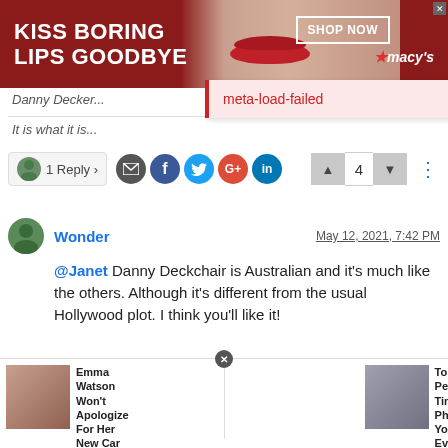[Figure (screenshot): Macy's advertisement banner: dark red background with text 'KISS BORING LIPS GOODBYE', a woman's face with red lips in center, 'SHOP NOW' button and Macy's star logo on right]
meta-load-failed
Danny Decker...
It is what it is...
1 Reply >
4
Wonder
May 12, 2021, 7:42 PM
@Janet Danny Deckchair is Australian and it's much like the others. Although it's different from the usual Hollywood plot. I think you'll like it!
[Figure (screenshot): Bottom advertisement row with two ads: 'Emma Watson Won't Apologize For Her New Car' (Ad by Nusey) and 'Top 20 Perfectly-Time Photos You Will Ever See!' (Ad by RilyNews)]